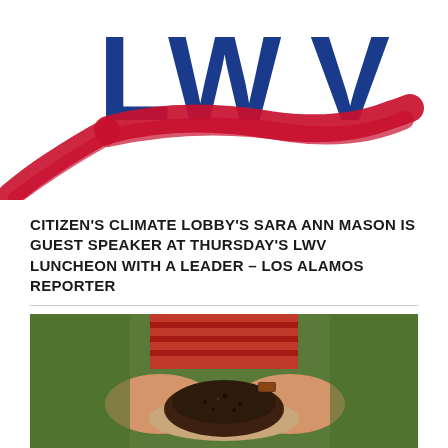[Figure (logo): LWV (League of Women Voters) logo with large bold blue letters 'LWV' and a red brush-stroke swoosh underneath]
CITIZEN'S CLIMATE LOBBY'S SARA ANN MASON IS GUEST SPEAKER AT THURSDAY'S LWV LUNCHEON WITH A LEADER – LOS ALAMOS REPORTER
[Figure (photo): A person holding a mound of dark soil/compost in their cupped hands, outdoors with green grass and plants in the background, wearing a red striped shirt with a leather wristband]